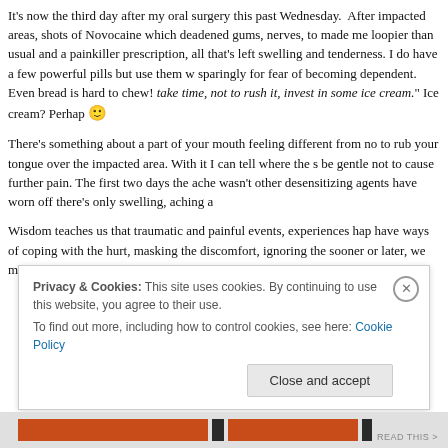It's now the third day after my oral surgery this past Wednesday. After impacted areas, shots of Novocaine which deadened gums, nerves, to made me loopier than usual and a painkiller prescription, all that's left swelling and tenderness. I do have a few powerful pills but use them sparingly for fear of becoming dependent. Even bread is hard to chew! take time, not to rush it, invest in some ice cream." Ice cream? Perhaps 🙂
There's something about a part of your mouth feeling different from no to rub your tongue over the impacted area. With it I can tell where the s be gentle not to cause further pain. The first two days the ache wasn't other desensitizing agents have worn off there's only swelling, aching a
Wisdom teaches us that traumatic and painful events, experiences hap have ways of coping with the hurt, masking the discomfort, ignoring the sooner or later, we must acknowledge the damage which has been do
Privacy & Cookies: This site uses cookies. By continuing to use this website, you agree to their use.
To find out more, including how to control cookies, see here: Cookie Policy
[Close and accept]